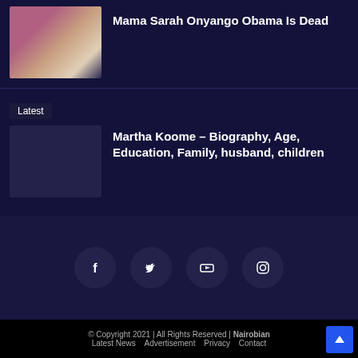[Figure (photo): Thumbnail photo of two people standing together]
Mama Sarah Onyango Obama Is Dead
Latest
[Figure (photo): Thumbnail placeholder image]
Martha Koome – Biography, Age, Education, Family, husband, children
[Figure (infographic): Social media icons: Facebook, Twitter, YouTube, Instagram]
© Copyright 2021 | All Rights Reserved | Nairobian
Latest News   Advertisement   Privacy   Contact